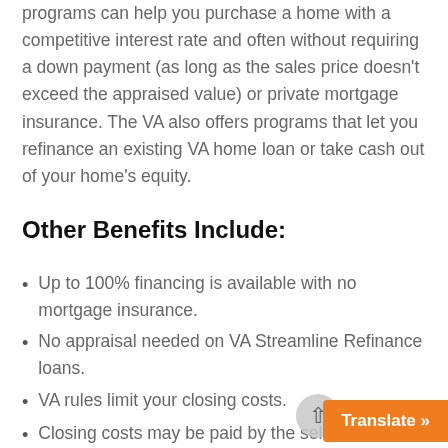programs can help you purchase a home with a competitive interest rate and often without requiring a down payment (as long as the sales price doesn't exceed the appraised value) or private mortgage insurance. The VA also offers programs that let you refinance an existing VA home loan or take cash out of your home's equity.
Other Benefits Include:
Up to 100% financing is available with no mortgage insurance.
No appraisal needed on VA Streamline Refinance loans.
VA rules limit your closing costs.
Closing costs may be paid by the seller.
You can't be charged a penalty fee.